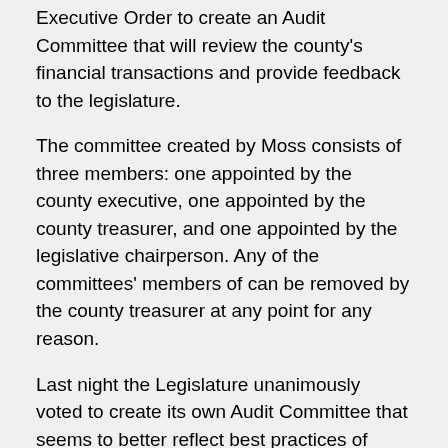Executive Order to create an Audit Committee that will review the county's financial transactions and provide feedback to the legislature.
The committee created by Moss consists of three members: one appointed by the county executive, one appointed by the county treasurer, and one appointed by the legislative chairperson. Any of the committees' members of can be removed by the county treasurer at any point for any reason.
Last night the Legislature unanimously voted to create its own Audit Committee that seems to better reflect best practices of financial oversight. Most fundamentally, the members of the committee should be fully independent of the entity they are overseeing.
To that end, the Legislative Audit Committee is comprised of seven members: three legislators appointed by the legislative chairperson and two members-at-large who are not employed by Chemung County, one of whom is appointed by the legislative chairperson and the other by